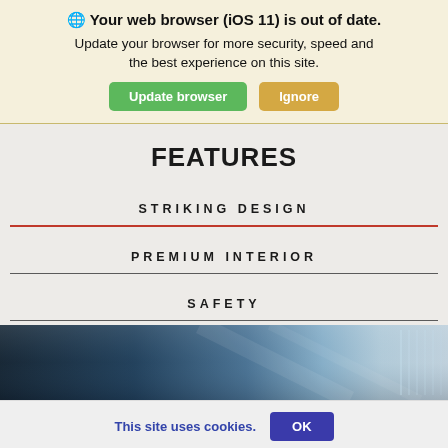Your web browser (iOS 11) is out of date. Update your browser for more security, speed and the best experience on this site. Update browser  Ignore
FEATURES
STRIKING DESIGN
PREMIUM INTERIOR
SAFETY
[Figure (photo): Car body panel close-up, dark blue to silver gradient, with vertical trim detail visible on right side]
This site uses cookies.  OK